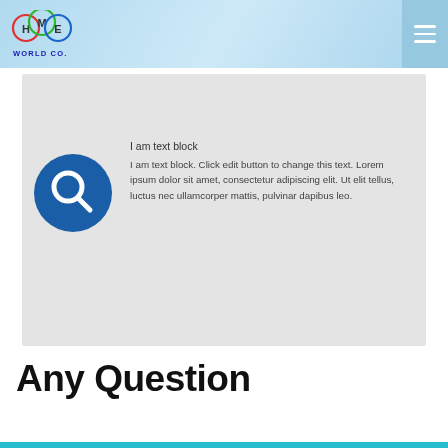HOME WORLD CO.
[Figure (logo): HOME WORLD CO. logo with circular H, M, E letters in colored rings and bold blue text WORLD CO.]
I am text block
I am text block. Click edit button to change this text. Lorem ipsum dolor sit amet, consectetur adipiscing elit. Ut elit tellus, luctus nec ullamcorper mattis, pulvinar dapibus leo.
Any Question